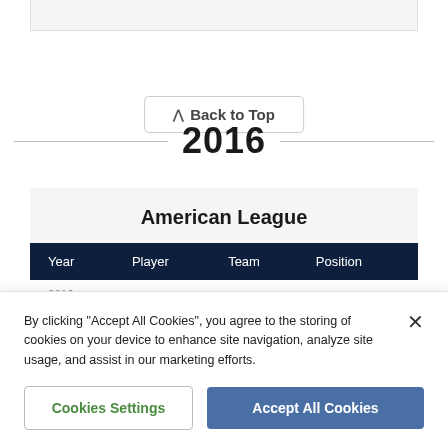Back to Top
2016
American League
| Year | Player | Team | Position |
| --- | --- | --- | --- |
| 2016 | ... | ... | ... |
By clicking "Accept All Cookies", you agree to the storing of cookies on your device to enhance site navigation, analyze site usage, and assist in our marketing efforts.
Cookies Settings
Accept All Cookies